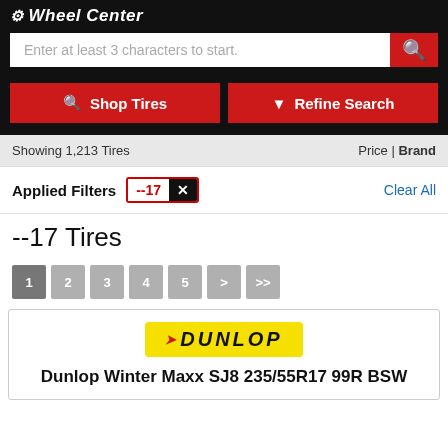Wheel Center
Enter at least 3 characters to start.
Shop Tires | Refine Search
Showing 1,213 Tires  Price | Brand
Applied Filters --17 X  Clear All
--17 Tires
1 2 3 4 5 > >>
[Figure (logo): Dunlop yellow logo]
Dunlop Winter Maxx SJ8 235/55R17 99R BSW